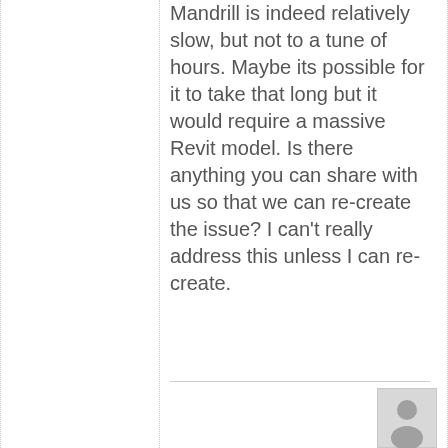Mandrill is indeed relatively slow, but not to a tune of hours. Maybe its possible for it to take that long but it would require a massive Revit model. Is there anything you can share with us so that we can re-create the issue? I can't really address this unless I can re-create.
[Figure (illustration): User avatar placeholder icon showing a grey silhouette of a person on a light grey background]